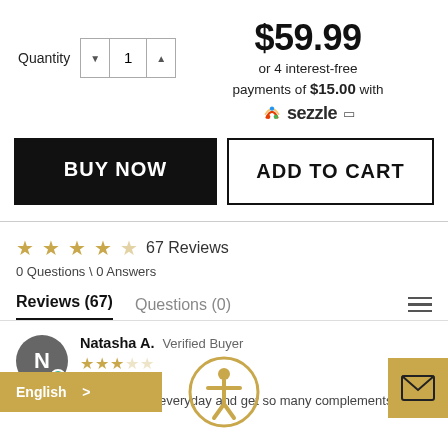Quantity 1
$59.99
or 4 interest-free payments of $15.00 with sezzle
BUY NOW
ADD TO CART
★★★★☆ 67 Reviews
0 Questions \ 0 Answers
Reviews (67)   Questions (0)
Natasha A.  Verified Buyer
Perfect ! I wear it almost everyday and get so many complements!